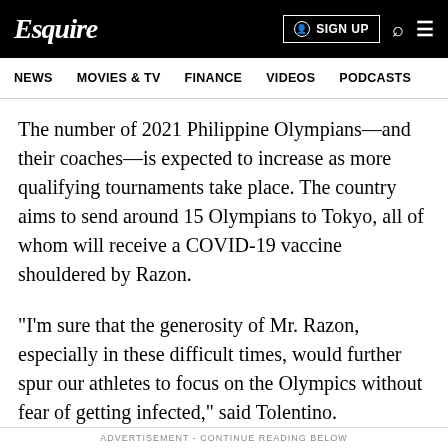Esquire  SIGN UP
NEWS  MOVIES & TV  FINANCE  VIDEOS  PODCASTS
The number of 2021 Philippine Olympians—and their coaches—is expected to increase as more qualifying tournaments take place. The country aims to send around 15 Olympians to Tokyo, all of whom will receive a COVID-19 vaccine shouldered by Razon.
"I'm sure that the generosity of Mr. Razon, especially in these difficult times, would further spur our athletes to focus on the Olympics without fear of getting infected," said Tolentino.
ADVERTISEMENT - CONTINUE READING BELOW